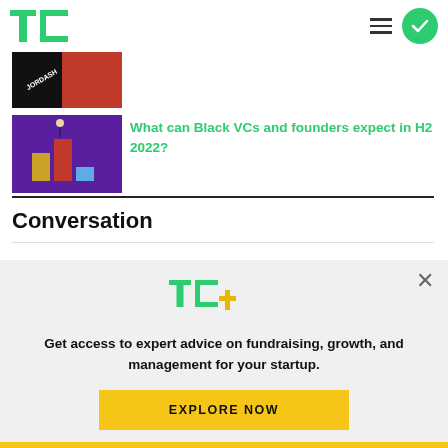TechCrunch logo, hamburger menu, green checkmark circle
[Figure (photo): Partially visible thumbnail of a shoe/sneaker image with JORDASH text, black and red colors]
[Figure (photo): Thumbnail with purple background showing gold and red bar chart blocks with a hand pointing]
What can Black VCs and founders expect in H2 2022?
Conversation
[Figure (logo): TechCrunch TC+ logo in green and gold/yellow]
Get access to expert advice on fundraising, growth, and management for your startup.
EXPLORE NOW